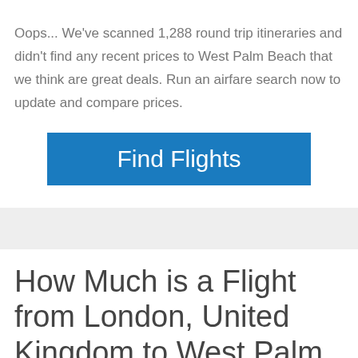Oops... We've scanned 1,288 round trip itineraries and didn't find any recent prices to West Palm Beach that we think are great deals. Run an airfare search now to update and compare prices.
[Figure (other): Blue button labeled 'Find Flights']
How Much is a Flight from London, United Kingdom to West Palm Beach?